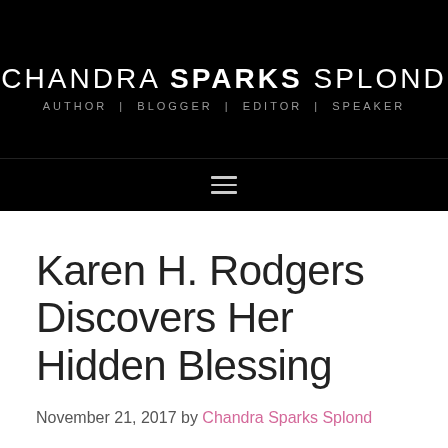CHANDRA SPARKS SPLOND — AUTHOR | BLOGGER | EDITOR | SPEAKER
Karen H. Rodgers Discovers Her Hidden Blessing
November 21, 2017 by Chandra Sparks Splond